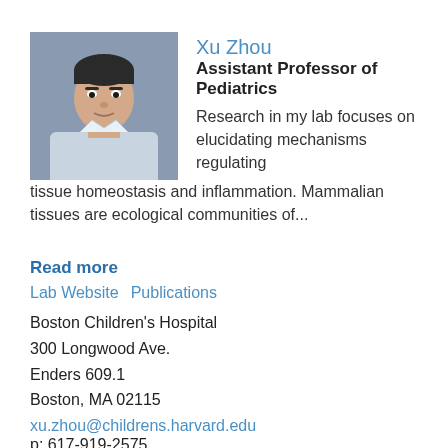[Figure (photo): Headshot photo of Xu Zhou, a man in a light blue shirt against a gray background]
Xu Zhou
Assistant Professor of Pediatrics
Research in my lab focuses on elucidating mechanisms regulating tissue homeostasis and inflammation. Mammalian tissues are ecological communities of...
Read more
Lab Website  Publications
Boston Children's Hospital
300 Longwood Ave.
Enders 609.1
Boston, MA 02115
xu.zhou@childrens.harvard.edu
p: 617-919-2575